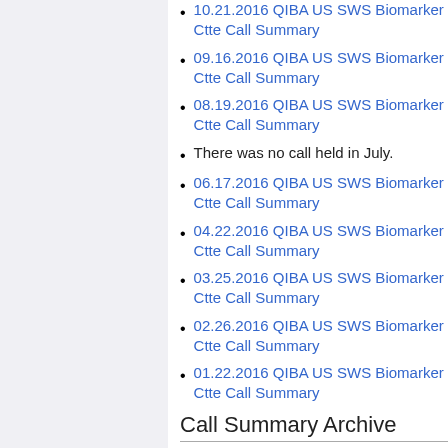10.21.2016 QIBA US SWS Biomarker Ctte Call Summary
09.16.2016 QIBA US SWS Biomarker Ctte Call Summary
08.19.2016 QIBA US SWS Biomarker Ctte Call Summary
There was no call held in July.
06.17.2016 QIBA US SWS Biomarker Ctte Call Summary
04.22.2016 QIBA US SWS Biomarker Ctte Call Summary
03.25.2016 QIBA US SWS Biomarker Ctte Call Summary
02.26.2016 QIBA US SWS Biomarker Ctte Call Summary
01.22.2016 QIBA US SWS Biomarker Ctte Call Summary
Call Summary Archive